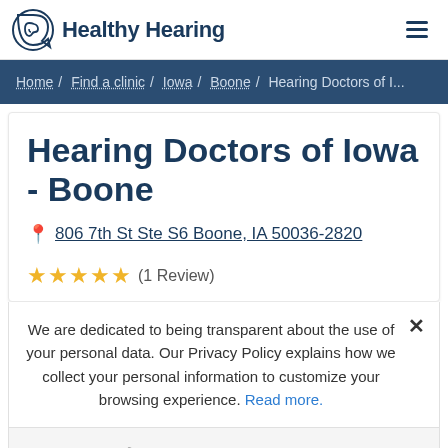Healthy Hearing
Home / Find a clinic / Iowa / Boone / Hearing Doctors of I...
Hearing Doctors of Iowa - Boone
806 7th St Ste S6 Boone, IA 50036-2820
★★★★★ (1 Review)
We are dedicated to being transparent about the use of your personal data. Our Privacy Policy explains how we collect your personal information to customize your browsing experience. Read more.
(515) 509-2847